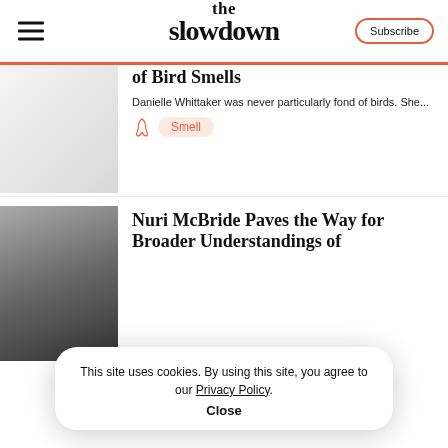the slowdown | Subscribe
The Secret History of Bird Smells
Danielle Whittaker was never particularly fond of birds. She...
Smell
Nuri McBride Paves the Way for Broader Understandings of
For many, perfume provides a layer
This site uses cookies. By using this site, you agree to our Privacy Policy.
Close